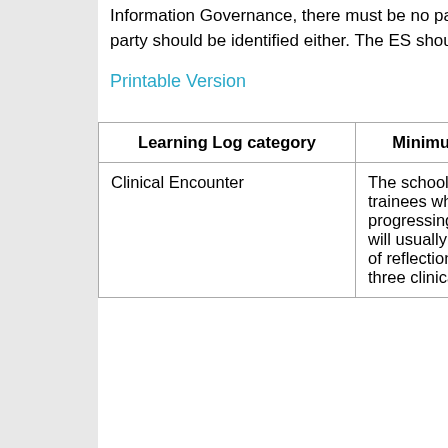Information Governance, there must be no patient identifiable information contained within written reflections and no third party should be identified either. The ES should provide support to develop reflective writing skills
Printable Version
| Learning Log category | Minimum numbers | Notes | Comp Demo |
| --- | --- | --- | --- |
| Clinical Encounter | The school consider that trainees who are progressing satisfactorily will usually show evidence of reflection on at least three clinical | Trainees are required to: “Show a commitment to professional development through reflection on performance and the identification | 2 Prac Holisti 3 Data gathe 4 Ma Diagn 5 Cli Manag 6 Ma Medic Comp 8 Wo |